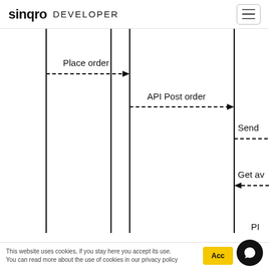sinqro DEVELOPER
[Figure (flowchart): Sequence diagram showing: 'Place order' dashed arrow from left lane to middle lane; 'API Post order' dashed arrow from middle lane to right lane; 'Send' partial dashed arrow going right from right lane (cropped); 'Get av' partial dashed arrow going left to right lane (cropped). Three vertical lifelines visible. Part of a larger sequence/flow diagram cropped on the right side.]
This website uses cookies, if you stay here you accept its use. You can read more about the use of cookies in our privacy policy